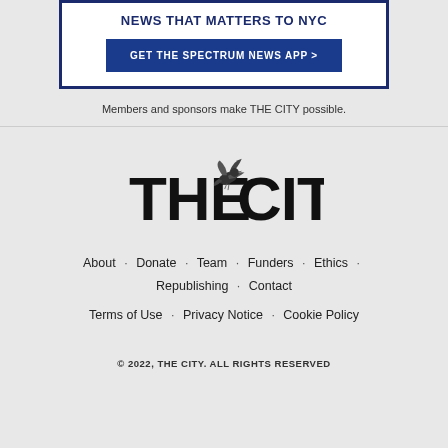[Figure (screenshot): Advertisement box with dark navy border. Bold text 'NEWS THAT MATTERS TO NYC' and a blue button 'GET THE SPECTRUM NEWS APP >']
Members and sponsors make THE CITY possible.
[Figure (logo): THE CITY logo with a bird (dove) illustration in the center of the text, black on white/grey background]
About · Donate · Team · Funders · Ethics · Republishing · Contact
Terms of Use · Privacy Notice · Cookie Policy
© 2022, THE CITY. ALL RIGHTS RESERVED